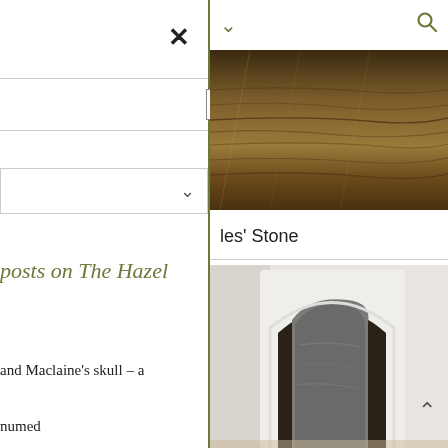[Figure (screenshot): Website interface showing left navigation panel with close button (X), search bar with Search button, dropdown selector with chevron, and partial text 'posts on The Hazel' in olive/green color, followed by partial text 'and Maclaine's skull – a' and 'numed'. Right panel shows top navigation with chevron and search icon, a photo of what appears to be a carved stone or horn artifact, a label reading 'les' Stone', and a second photo showing an arched doorway with a dark stone monument inside.]